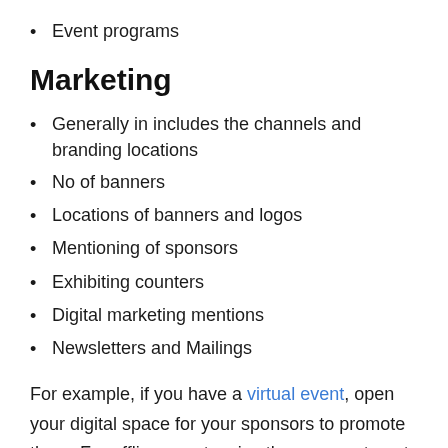Event programs
Marketing
Generally in includes the channels and branding locations
No of banners
Locations of banners and logos
Mentioning of sponsors
Exhibiting counters
Digital marketing mentions
Newsletters and Mailings
For example, if you have a virtual event, open your digital space for your sponsors to promote them. For offline events, give them space to put their banners, give them space in your